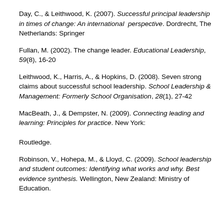Day, C., & Leithwood, K. (2007). Successful principal leadership in times of change: An international perspective. Dordrecht, The Netherlands: Springer
Fullan, M. (2002). The change leader. Educational Leadership, 59(8), 16-20
Leithwood, K., Harris, A., & Hopkins, D. (2008). Seven strong claims about successful school leadership. School Leadership & Management: Formerly School Organisation, 28(1), 27-42
MacBeath, J., & Dempster, N. (2009). Connecting leading and learning: Principles for practice. New York: Routledge.
Robinson, V., Hohepa, M., & Lloyd, C. (2009). School leadership and student outcomes: Identifying what works and why. Best evidence synthesis. Wellington, New Zealand: Ministry of Education.